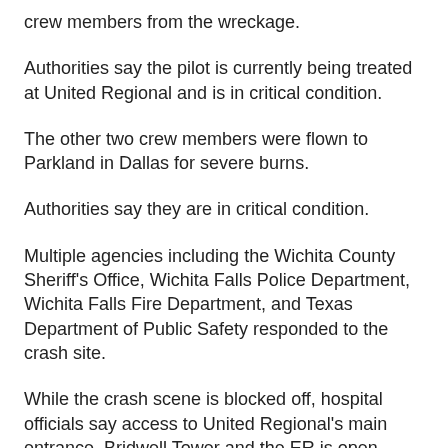crew members from the wreckage.
Authorities say the pilot is currently being treated at United Regional and is in critical condition.
The other two crew members were flown to Parkland in Dallas for severe burns.
Authorities say they are in critical condition.
Multiple agencies including the Wichita County Sheriff's Office, Wichita Falls Police Department, Wichita Falls Fire Department, and Texas Department of Public Safety responded to the crash site.
While the crash scene is blocked off, hospital officials say access to United Regional's main entrance, Bridwell Tower and the ER is open.
We spoke with a witness who says she was driving a cab in the area when she saw the helicopter go down.